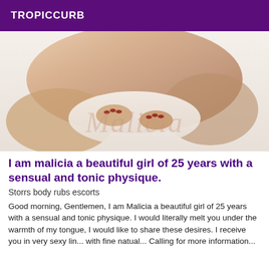TROPICCURB
[Figure (photo): Close-up photo of a person on a bed with white bedding, with a watermark reading 'Malicia' in script across the image.]
I am malicia a beautiful girl of 25 years with a sensual and tonic physique.
Storrs body rubs escorts
Good morning, Gentlemen, I am Malicia a beautiful girl of 25 years with a sensual and tonic physique. I would literally melt you under the warmth of my tongue, I would like to share these desires. I receive you in very sexy lin... with fine natual... Calling for more information...